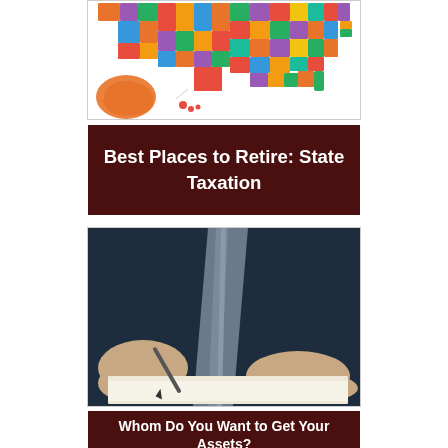[Figure (map): Colorful map of the United States with states shown in different colors (red, orange, green, blue, purple, yellow, etc.), including Alaska and Hawaii insets.]
Best Places to Retire: State Taxation
[Figure (photo): Close-up photo of a person in a business suit signing documents with a pen at a desk.]
Whom Do You Want to Get Your Assets?